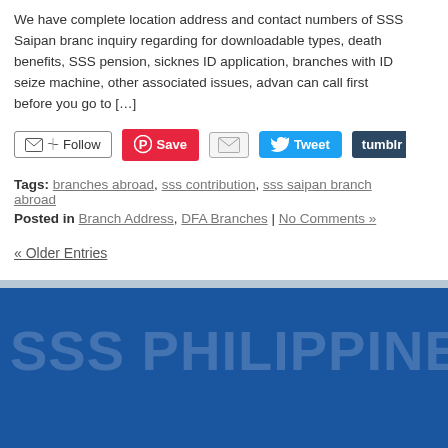We have complete location address and contact numbers of SSS Saipan branch inquiry regarding for downloadable types, death benefits, SSS pension, sickness ID application, branches with ID seize machine, other associated issues, advance can call first before you go to […]
[Figure (other): Social sharing buttons: Follow (email/RSS), Save (Pinterest), Email, Tweet (Twitter), Tumblr]
Tags: branches abroad, sss contribution, sss saipan branch abroad
Posted in Branch Address, DFA Branches | No Comments »
« Older Entries
SSS PHILIPPINES ONL...